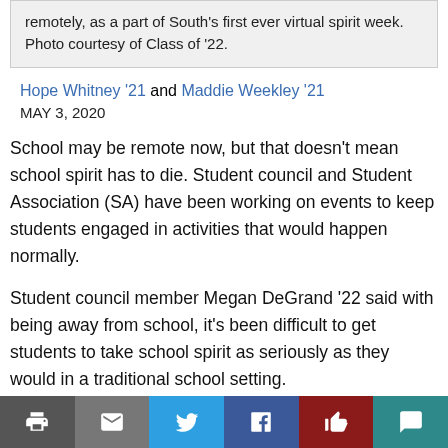remotely, as a part of South's first ever virtual spirit week. Photo courtesy of Class of '22.
Hope Whitney '21 and Maddie Weekley '21
MAY 3, 2020
School may be remote now, but that doesn't mean school spirit has to die. Student council and Student Association (SA) have been working on events to keep students engaged in activities that would happen normally.
Student council member Megan DeGrand '22 said with being away from school, it's been difficult to get students to take school spirit as seriously as they would in a traditional school setting.
“When there’s a spirit week at school, everyone is
Print | Email | Twitter | Facebook | Like | Comment